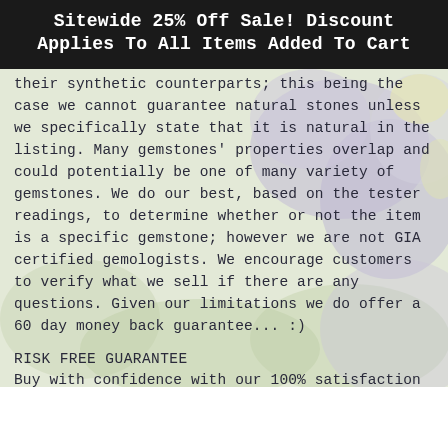Sitewide 25% Off Sale! Discount Applies To All Items Added To Cart
their synthetic counterparts; this being the case we cannot guarantee natural stones unless we specifically state that it is natural in the listing. Many gemstones' properties overlap and could potentially be one of many variety of gemstones. We do our best, based on the tester readings, to determine whether or not the item is a specific gemstone; however we are not GIA certified gemologists. We encourage customers to verify what we sell if there are any questions. Given our limitations we do offer a 60 day money back guarantee... :)
RISK FREE GUARANTEE
Buy with confidence with our 100% satisfaction guarantee. We understand that it is difficult to purchase jewelry online and we strive to give our customers a brick and mortar experience. Our return policy gives you a chance to touch and see any of our items in person to make a final decision. If for any reason you are not completely happy with your